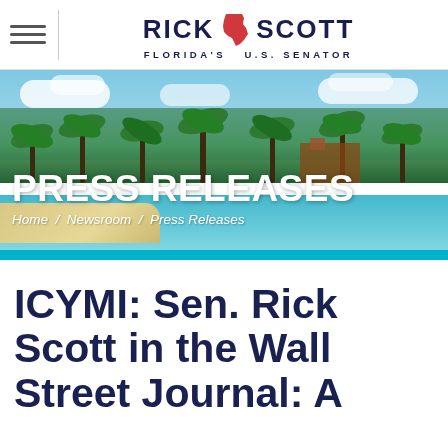Rick Scott — Florida's U.S. Senator
[Figure (photo): Hero banner with a Florida beach scene — palm trees, turquoise water, sandy shore, blue sky with clouds. Large overlaid text reads PRESS RELEASES with breadcrumb Home / Newsroom / Press Releases.]
ICYMI: Sen. Rick Scott in the Wall Street Journal: A